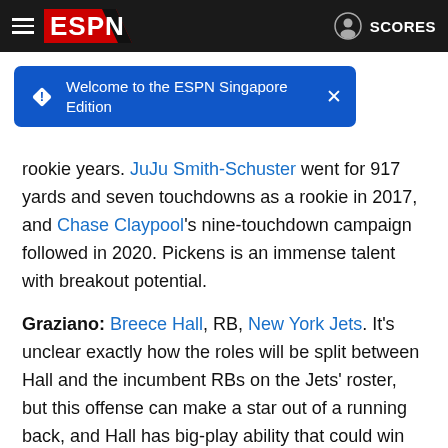ESPN — Welcome to the ESPN Singapore Edition — SCORES
rookie years. JuJu Smith-Schuster went for 917 yards and seven touchdowns as a rookie in 2017, and Chase Claypool's nine-touchdown campaign followed in 2020. Pickens is an immense talent with breakout potential.
Graziano: Breece Hall, RB, New York Jets. It's unclear exactly how the roles will be split between Hall and the incumbent RBs on the Jets' roster, but this offense can make a star out of a running back, and Hall has big-play ability that could win you a lot of fantasy football weeks if he gets the ball enough.
Kezirian: Treylon Burks, WR, Tennessee Titans. This is all about opportunity, and he slides right into a great situation after the Titans traded Brown. Tennessee still sees itself as a contender and Burks is a guy who can make plays with so